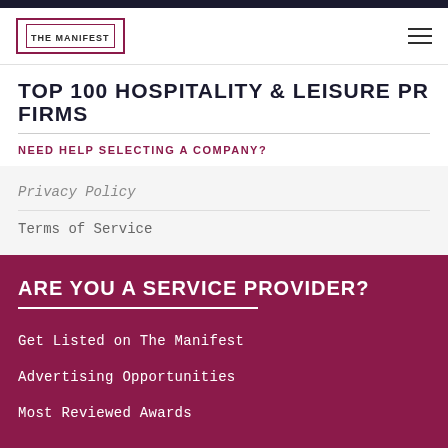THE MANIFEST
TOP 100 HOSPITALITY & LEISURE PR FIRMS
NEED HELP SELECTING A COMPANY?
Privacy Policy
Terms of Service
ARE YOU A SERVICE PROVIDER?
Get Listed on The Manifest
Advertising Opportunities
Most Reviewed Awards